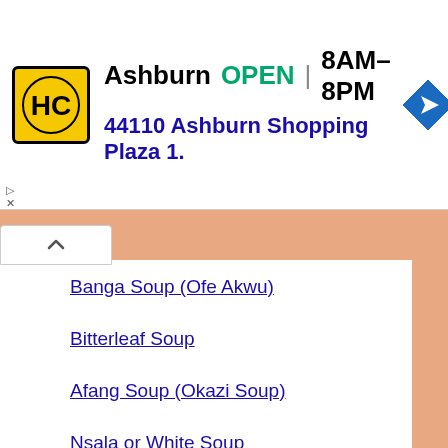[Figure (infographic): Advertisement banner for HopStop (HC logo) showing Ashburn location, OPEN 8AM-8PM, address 44110 Ashburn Shopping Plaza 1., with navigation arrow icon]
Banga Soup (Ofe Akwu)
Bitterleaf Soup
Afang Soup (Okazi Soup)
Nsala or White Soup
Ora (Oha) Soup
Ogbono Soup with Okra
Gbegiri Soup
Egusi Soup (Fried Method)